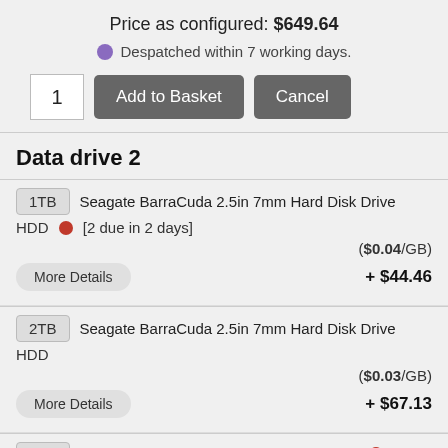Price as configured: $649.64
Despatched within 7 working days.
1  Add to Basket  Cancel
Data drive 2
1TB  Seagate BarraCuda 2.5in 7mm Hard Disk Drive HDD  [2 due in 2 days]  ($0.04/GB)  + $44.46
2TB  Seagate BarraCuda 2.5in 7mm Hard Disk Drive HDD  ($0.03/GB)  + $67.13
1TB  Samsung 870 OVO SSD Solid State Drive  [5